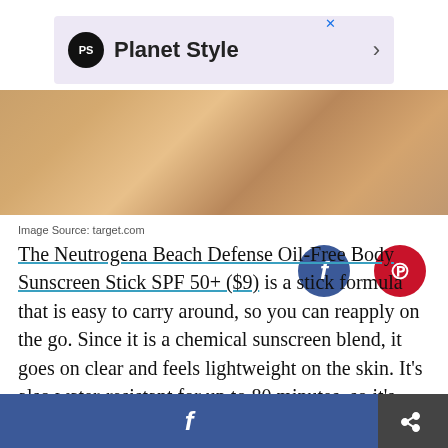[Figure (screenshot): Advertisement banner for Planet Style with PS logo on lavender background]
[Figure (photo): Close-up photo of a person's skin/face with social media share buttons (Facebook and Pinterest) overlaid in the bottom-right corner]
Image Source: target.com
The Neutrogena Beach Defense Oil-Free Body Sunscreen Stick SPF 50+ ($9) is a stick formula that is easy to carry around, so you can reapply on the go. Since it is a chemical sunscreen blend, it goes on clear and feels lightweight on the skin. It's also water-resistant for up to 80 minutes, so it's perfect for summer adventures.
[Figure (screenshot): Bottom share bar with Facebook share button (blue) and a general share button (dark grey)]